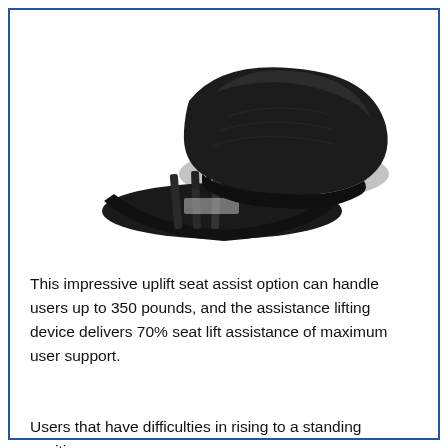[Figure (photo): Black uplift seat assist device shown partially open, with padded cushion top raised at an angle revealing the mechanical lifting mechanism underneath, on a white background.]
This impressive uplift seat assist option can handle users up to 350 pounds, and the assistance lifting device delivers 70% seat lift assistance of maximum user support.
Users that have difficulties in rising to a standing position